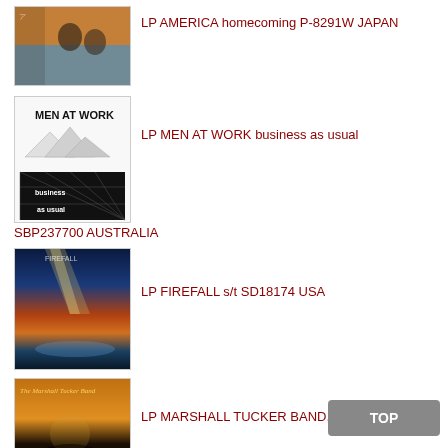[Figure (photo): Album cover for America - Homecoming, showing band members]
LP AMERICA homecoming P-8291W JAPAN
[Figure (photo): Album cover for Men At Work - Business As Usual]
LP MEN AT WORK business as usual SBP237700 AUSTRALIA
[Figure (photo): Album cover for Firefall s/t SD18174 USA]
LP FIREFALL s/t SD18174 USA
[Figure (photo): Album cover for The Marshall Tucker Band]
LP MARSHALL TUCKER BAND, THE